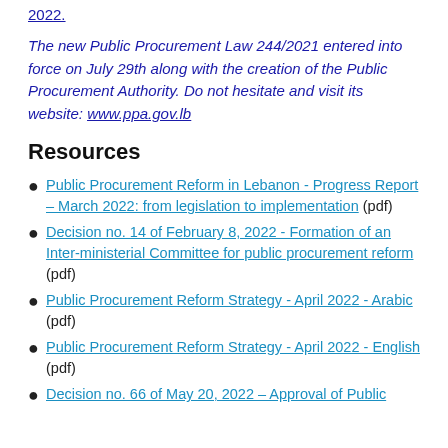2022.
The new Public Procurement Law 244/2021 entered into force on July 29th along with the creation of the Public Procurement Authority. Do not hesitate and visit its website: www.ppa.gov.lb
Resources
Public Procurement Reform in Lebanon - Progress Report – March 2022: from legislation to implementation (pdf)
Decision no. 14 of February 8, 2022 - Formation of an Inter-ministerial Committee for public procurement reform (pdf)
Public Procurement Reform Strategy - April 2022 - Arabic (pdf)
Public Procurement Reform Strategy - April 2022 - English (pdf)
Decision no. 66 of May 20, 2022 – Approval of Public